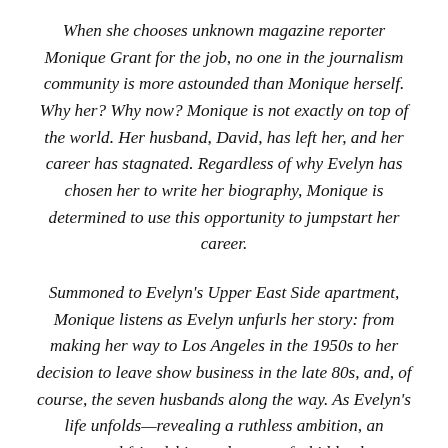When she chooses unknown magazine reporter Monique Grant for the job, no one in the journalism community is more astounded than Monique herself. Why her? Why now? Monique is not exactly on top of the world. Her husband, David, has left her, and her career has stagnated. Regardless of why Evelyn has chosen her to write her biography, Monique is determined to use this opportunity to jumpstart her career.
Summoned to Evelyn's Upper East Side apartment, Monique listens as Evelyn unfurls her story: from making her way to Los Angeles in the 1950s to her decision to leave show business in the late 80s, and, of course, the seven husbands along the way. As Evelyn's life unfolds—revealing a ruthless ambition, an unexpected friendship, and a great forbidden love—Monique begins to feel a very a real connection to the actress. But as Evelyn's story catches up